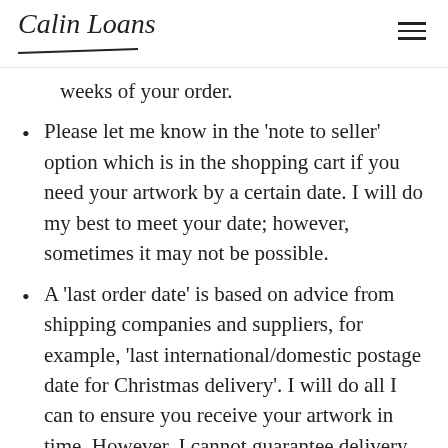Calin Loans
weeks of your order.
Please let me know in the ‘note to seller’ option which is in the shopping cart if you need your artwork by a certain date. I will do my best to meet your date; however, sometimes it may not be possible.
A ‘last order date’ is based on advice from shipping companies and suppliers, for example, ‘last international/domestic postage date for Christmas delivery’. I will do all I can to ensure you receive your artwork in time. However, I cannot guarantee delivery by a certain date.
Upon ordering, you will receive an email confirming your order. You will receive a second